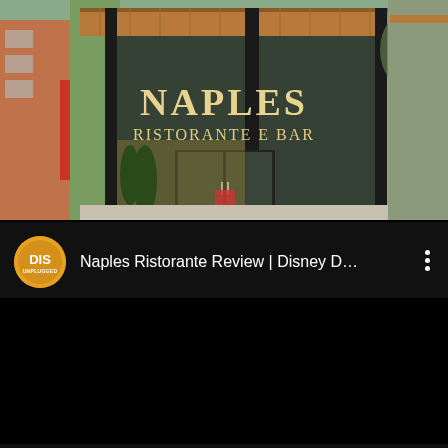[Figure (photo): Exterior photo of Naples Ristorante e Bar restaurant entrance. A modern building with black steel frame glass entrance doors. A large sign above the entrance reads 'NAPLES RISTORANTE E BAR' in gold/cream letters. The building has wood-paneled ceiling overhang, a red accent panel on the left, tall cypress trees, and outdoor patio seating visible to the right.]
[Figure (screenshot): YouTube video thumbnail/preview for 'Naples Ristorante Review | Disney D...' by DIS Unplugged channel. Shows the channel logo (orange circle with 'DIS' text and 'UNPLUGGED' below), the video title in white text, and a three-dot menu icon on the right. The video preview area is black.]